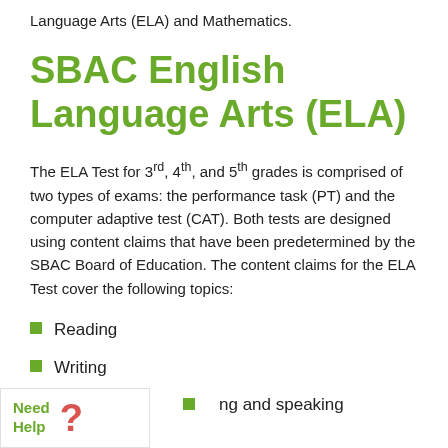Language Arts (ELA) and Mathematics.
SBAC English Language Arts (ELA)
The ELA Test for 3rd, 4th, and 5th grades is comprised of two types of exams: the performance task (PT) and the computer adaptive test (CAT). Both tests are designed using content claims that have been predetermined by the SBAC Board of Education. The content claims for the ELA Test cover the following topics:
Reading
Writing
Listening and speaking